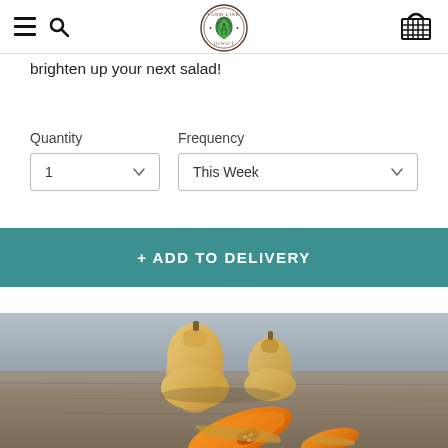Farm Link Hawaii - navigation header with hamburger menu, search icon, logo, and cart icon
brighten up your next salad!
Quantity | Frequency | 1 | This Week
+ ADD TO DELIVERY
[Figure (photo): Photo of butternut squash — two whole squash and one sliced open showing orange flesh, on a wooden surface with gray background]